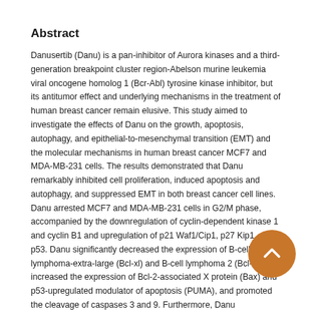Abstract
Danusertib (Danu) is a pan-inhibitor of Aurora kinases and a third-generation breakpoint cluster region-Abelson murine leukemia viral oncogene homolog 1 (Bcr-Abl) tyrosine kinase inhibitor, but its antitumor effect and underlying mechanisms in the treatment of human breast cancer remain elusive. This study aimed to investigate the effects of Danu on the growth, apoptosis, autophagy, and epithelial-to-mesenchymal transition (EMT) and the molecular mechanisms in human breast cancer MCF7 and MDA-MB-231 cells. The results demonstrated that Danu remarkably inhibited cell proliferation, induced apoptosis and autophagy, and suppressed EMT in both breast cancer cell lines. Danu arrested MCF7 and MDA-MB-231 cells in G2/M phase, accompanied by the downregulation of cyclin-dependent kinase 1 and cyclin B1 and upregulation of p21 Waf1/Cip1, p27 Kip1, and p53. Danu significantly decreased the expression of B-cell lymphoma-extra-large (Bcl-xl) and B-cell lymphoma 2 (Bcl-2), but increased the expression of Bcl-2-associated X protein (Bax) and p53-upregulated modulator of apoptosis (PUMA), and promoted the cleavage of caspases 3 and 9. Furthermore, Danu